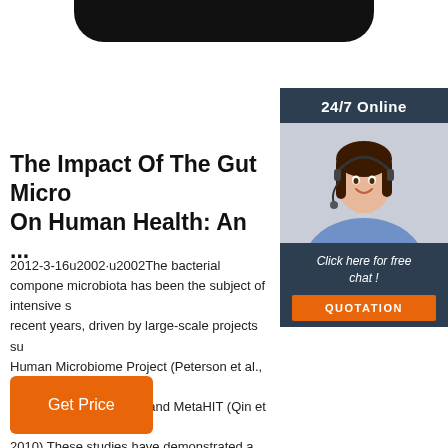[Figure (photo): Top navigation bar, dark rounded rectangle at top center of page]
[Figure (photo): Sidebar with '24/7 Online' badge, photo of smiling female customer service agent wearing headset, 'Click here for free chat!' text, and orange QUOTATION button]
The Impact Of The Gut Micro On Human Health: An ...
2012-3-16u2002·u2002The bacterial component microbiota has been the subject of intensive study in recent years, driven by large-scale projects such as the Human Microbiome Project (Peterson et al., 2009; Turnbaugh et al., 2007) and MetaHIT (Qin et al., 2010).These studies have demonstrated a large variability in the composition of the community in healthy individuals, with twins sharing less than 50% ...
[Figure (other): Orange 'Get Price' button at bottom left]